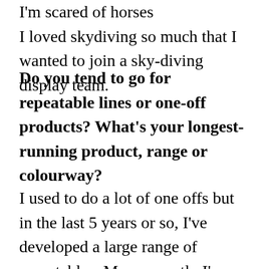I'm scared of horses
I loved skydiving so much that I wanted to join a sky-diving display team.
Do you tend to go for repeatable lines or one-off products? What's your longest-running product, range or colourway?
I used to do a lot of one offs but in the last 5 years or so, I've developed a large range of repeatables. More recently I've